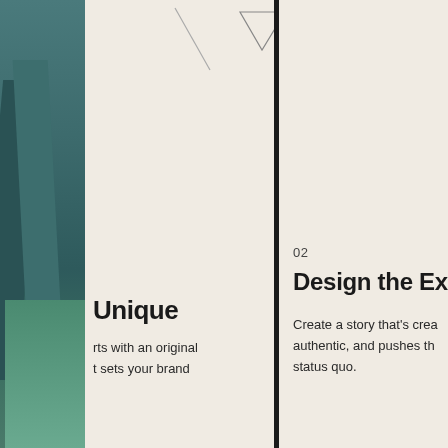[Figure (photo): Left column showing a photograph of an architectural structure with blue-green tones, partially visible]
[Figure (illustration): Decorative geometric lines and triangle outline on cream background in the middle panel]
Unique
rts with an original t sets your brand
02
Design the Experience
Create a story that's crea authentic, and pushes th status quo.